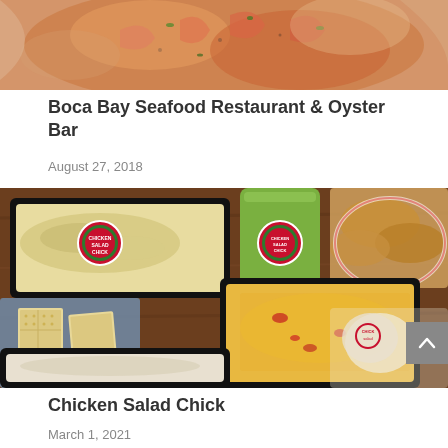[Figure (photo): Close-up photo of seafood dish with shrimp and garnishes]
Boca Bay Seafood Restaurant & Oyster Bar
August 27, 2018
[Figure (photo): Photo of Chicken Salad Chick branded food containers with chicken salad, corn salad, crackers, croissants, and branded cup on a wooden table]
Chicken Salad Chick
March 1, 2021